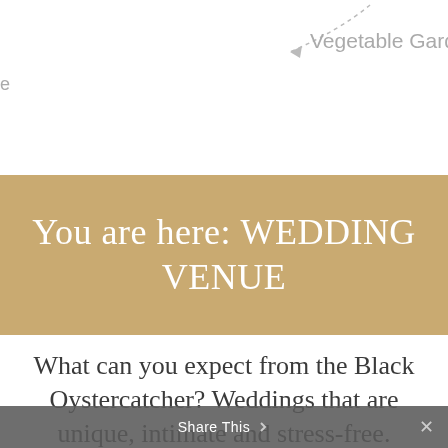[Figure (map): Partial map showing 'Vegetable Garden' label with dashed arrow pointer, and a partial left-edge label cut off]
You are here: WEDDING VENUE
What can you expect from the Black Oystercatcher? Weddings that are unique, intimate and stress-free.
Quite simply, in the Human-family tradition, it's a day to always remember, appreciating wonderful
Share This